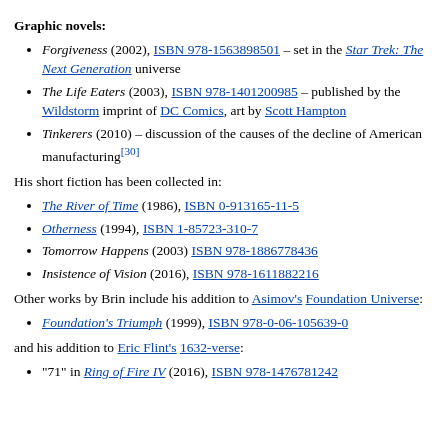Graphic novels:
Forgiveness (2002), ISBN 978-1563898501 – set in the Star Trek: The Next Generation universe
The Life Eaters (2003), ISBN 978-1401200985 – published by the Wildstorm imprint of DC Comics, art by Scott Hampton
Tinkerers (2010) – discussion of the causes of the decline of American manufacturing[30]
His short fiction has been collected in:
The River of Time (1986), ISBN 0-913165-11-5
Otherness (1994), ISBN 1-85723-310-7
Tomorrow Happens (2003) ISBN 978-1886778436
Insistence of Vision (2016), ISBN 978-1611882216
Other works by Brin include his addition to Asimov's Foundation Universe:
Foundation's Triumph (1999), ISBN 978-0-06-105639-0
and his addition to Eric Flint's 1632-verse:
"71" in Ring of Fire IV (2016), ISBN 978-1476781242